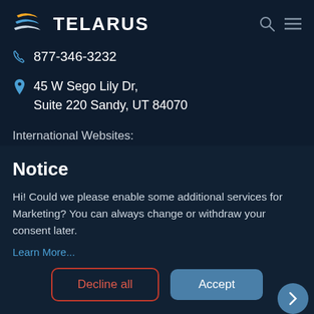TELARUS
877-346-3232
45 W Sego Lily Dr, Suite 220 Sandy, UT 84070
International Websites:
Notice
Hi! Could we please enable some additional services for Marketing? You can always change or withdraw your consent later.
Learn More...
Decline all
Accept